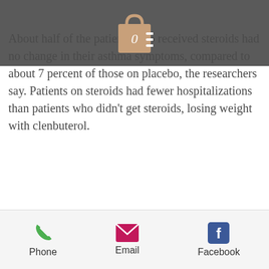About half of the patients who received steroids had no change in their asthma symptoms, compared to about 7 percent of those on placebo, the researchers say. Patients on steroids had fewer hospitalizations than patients who didn't get steroids, losing weight with clenbuterol.
Although steroids didn't change lung function, the investigators found people did have better lung function when they also were given medication to keep their lungs functioning at the right speed.
It is not clear whether these improvements in asthma control translate into better quality of life, Burd notes. "The benefits of steroids for asthma control are not necessarily going to
[Figure (other): Mobile UI bottom navigation bar with Phone, Email, and Facebook buttons]